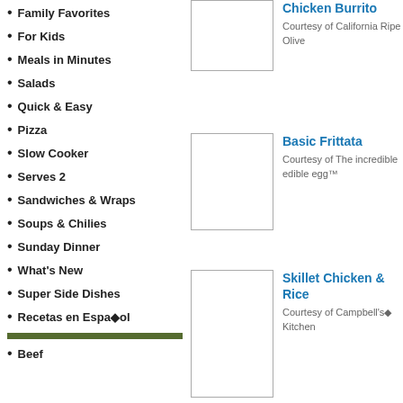Family Favorites
For Kids
Meals in Minutes
Salads
Quick & Easy
Pizza
Slow Cooker
Serves 2
Sandwiches & Wraps
Soups & Chilies
Sunday Dinner
What's New
Super Side Dishes
Recetas en Español
Beef
[Figure (photo): Image placeholder for Chicken Burrito]
Chicken Burrito
Courtesy of California Ripe Olive
[Figure (photo): Image placeholder for Basic Frittata]
Basic Frittata
Courtesy of The incredible edible egg™
[Figure (photo): Image placeholder for Skillet Chicken & Rice]
Skillet Chicken & Rice
Courtesy of Campbell's® Kitchen